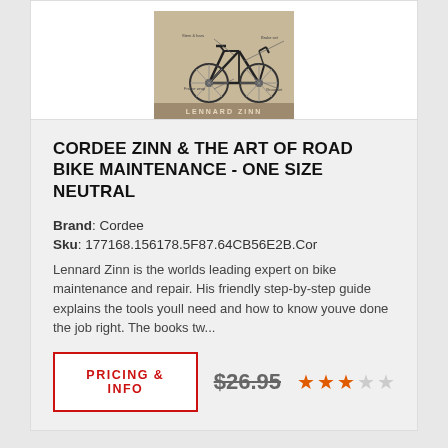[Figure (photo): Book cover of Zinn & The Art of Road Bike Maintenance showing a road bike diagram with component callouts on a tan/brown background with 'LENNARD ZINN' text at bottom]
CORDEE ZINN & THE ART OF ROAD BIKE MAINTENANCE - ONE SIZE NEUTRAL
Brand: Cordee
Sku: 177168.156178.5F87.64CB56E2B.Cor
Lennard Zinn is the worlds leading expert on bike maintenance and repair. His friendly step-by-step guide explains the tools youll need and how to know youve done the job right. The books tw...
PRICING & INFO
$26.95
[Figure (other): 3-star rating display with 3 filled orange stars and 2 empty grey stars]